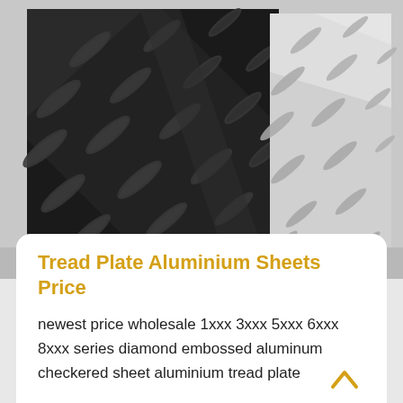[Figure (photo): Two aluminium tread plates side by side — one black/dark anodized on the left and one silver/natural on the right — both showing a diamond/checker embossed pattern. Photo is taken on a light gray surface.]
Tread Plate Aluminium Sheets Price
newest price wholesale 1xxx 3xxx 5xxx 6xxx 8xxx series diamond embossed aluminum checkered sheet aluminium tread plate